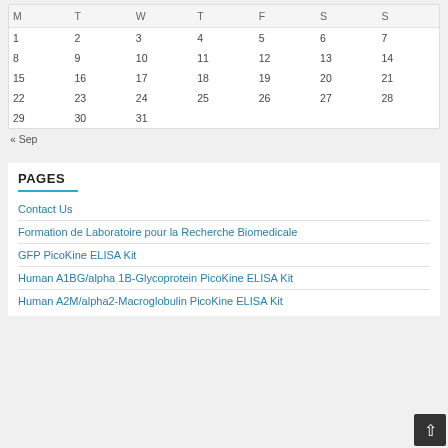| M | T | W | T | F | S | S |
| --- | --- | --- | --- | --- | --- | --- |
| 1 | 2 | 3 | 4 | 5 | 6 | 7 |
| 8 | 9 | 10 | 11 | 12 | 13 | 14 |
| 15 | 16 | 17 | 18 | 19 | 20 | 21 |
| 22 | 23 | 24 | 25 | 26 | 27 | 28 |
| 29 | 30 | 31 |  |  |  |  |
« Sep
PAGES
Contact Us
Formation de Laboratoire pour la Recherche Biomedicale
GFP PicoKine ELISA Kit
Human A1BG/alpha 1B-Glycoprotein PicoKine ELISA Kit
Human A2M/alpha2-Macroglobulin PicoKine ELISA Kit